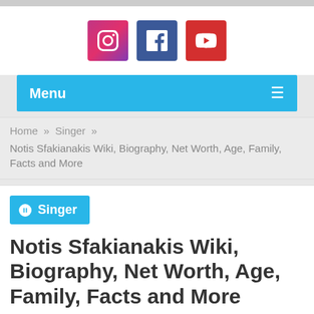[Figure (screenshot): Top partial bar/image strip at very top of page]
[Figure (infographic): Social media icons: Instagram (pink/purple gradient), Facebook (blue), YouTube (red)]
Menu ≡
Home » Singer » Notis Sfakianakis Wiki, Biography, Net Worth, Age, Family, Facts and More
Singer
Notis Sfakianakis Wiki, Biography, Net Worth, Age, Family, Facts and More